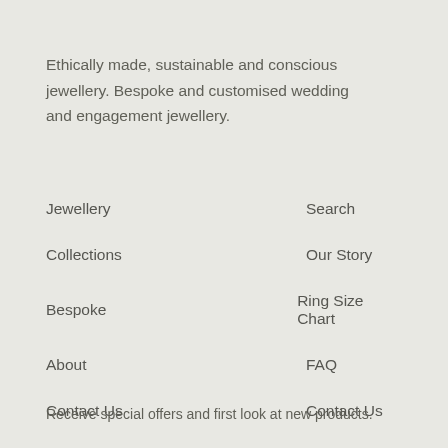Ethically made, sustainable and conscious jewellery. Bespoke and customised wedding and engagement jewellery.
Jewellery
Search
Collections
Our Story
Bespoke
Ring Size Chart
About
FAQ
Contact Us
Contact Us
Receive special offers and first look at new products.